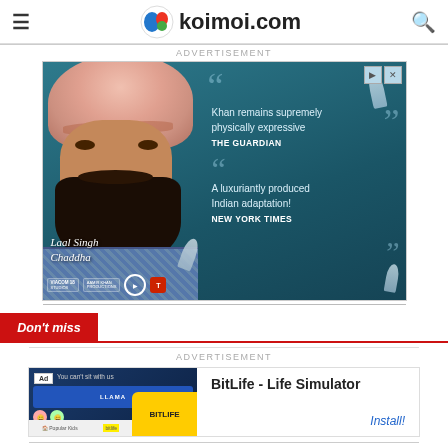koimoi.com
ADVERTISEMENT
[Figure (photo): Movie advertisement for 'Laal Singh Chaddha' featuring a man in a pink turban and beard. Contains quotes: 'Khan remains supremely physically expressive - THE GUARDIAN' and 'A luxuriantly produced Indian adaptation! - NEW YORK TIMES'. Logos for Viacom18 Studios, Aamir Khan Productions, Paramount, and T-Series shown at bottom.]
Don't miss
ADVERTISEMENT
[Figure (screenshot): Advertisement for BitLife - Life Simulator app showing ad badge and install button]